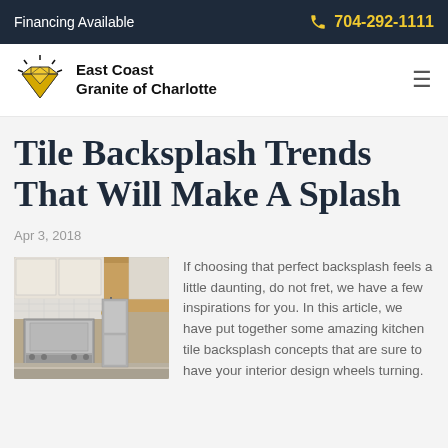Financing Available | 704-292-1111
[Figure (logo): East Coast Granite of Charlotte logo with diamond icon]
Tile Backsplash Trends That Will Make A Splash
Apr 3, 2018
[Figure (photo): Kitchen interior showing white cabinets and backsplash]
If choosing that perfect backsplash feels a little daunting, do not fret, we have a few inspirations for you. In this article, we have put together some amazing kitchen tile backsplash concepts that are sure to have your interior design wheels turning.